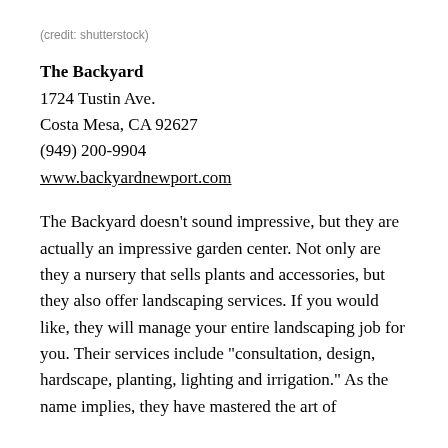(credit: shutterstock)
The Backyard
1724 Tustin Ave.
Costa Mesa, CA 92627
(949) 200-9904
www.backyardnewport.com
The Backyard doesn't sound impressive, but they are actually an impressive garden center. Not only are they a nursery that sells plants and accessories, but they also offer landscaping services. If you would like, they will manage your entire landscaping job for you. Their services include "consultation, design, hardscape, planting, lighting and irrigation." As the name implies, they have mastered the art of